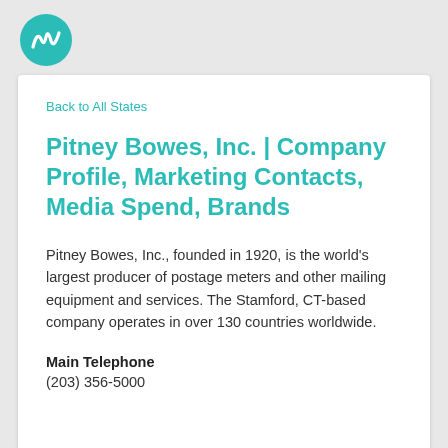[Figure (logo): Winmo teal circular logo with stylized W letter in white]
Back to All States
Pitney Bowes, Inc. | Company Profile, Marketing Contacts, Media Spend, Brands
Pitney Bowes, Inc., founded in 1920, is the world's largest producer of postage meters and other mailing equipment and services. The Stamford, CT-based company operates in over 130 countries worldwide.
Main Telephone
(203) 356-5000